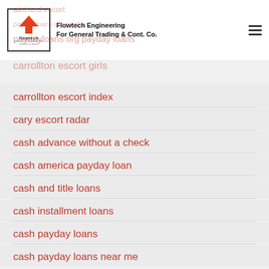Flowtech Engineering For General Trading & Cont. Co.
carrollton escort girls
carrollton escort index
cary escort radar
cash advance without a check
cash america payday loan
cash and title loans
cash installment loans
cash payday loans
cash payday loans near me
cash title loans
Casual Sex visitors
catholic singles przejrze?